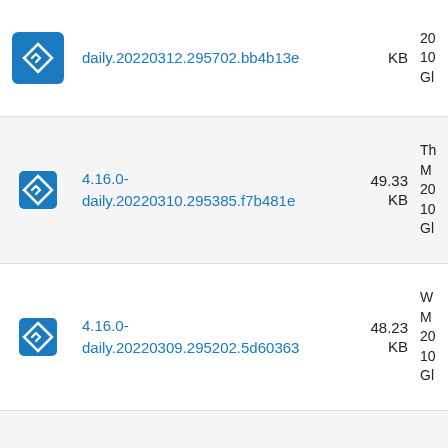4.16.0-daily.20220312.295702.bb4b13e  KB
4.16.0-daily.20220310.295385.f7b481e  49.33 KB
4.16.0-daily.20220309.295202.5d60363  48.23 KB
4.16.0-daily.20220305.294662.d2e6daf  KB